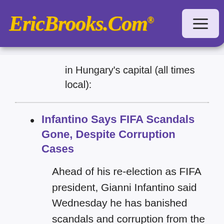EricBrooks.Com®
in Hungary's capital (all times local):
Infantino Says FIFA Scandals Gone, Despite Corruption Cases
Ahead of his re-election as FIFA president, Gianni Infantino said Wednesday he has banished scandals and corruption from the soccer body despite losing members of his council for misconduct.